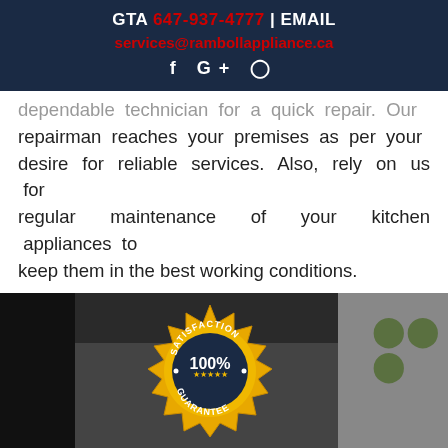GTA 647-937-4777 | EMAIL services@rambollappliance.ca
dependable technician for a quick repair. Our repairman reaches your premises as per your desire for reliable services. Also, rely on us for regular maintenance of your kitchen appliances to keep them in the best working conditions.
[Figure (photo): Satisfaction 100% Guarantee badge/seal overlaid on a dark background with appliance and a plant visible on the right side.]
Click Here To Call Us